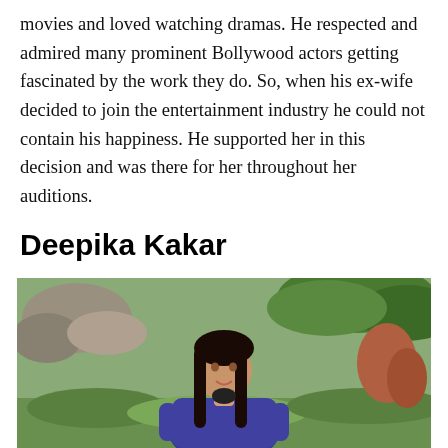movies and loved watching dramas. He respected and admired many prominent Bollywood actors getting fascinated by the work they do. So, when his ex-wife decided to join the entertainment industry he could not contain his happiness. He supported her in this decision and was there for her throughout her auditions.
Deepika Kakar
[Figure (photo): A young woman with long dark hair wearing a purple top, smiling, photographed outdoors with greenery and rocks in the background.]